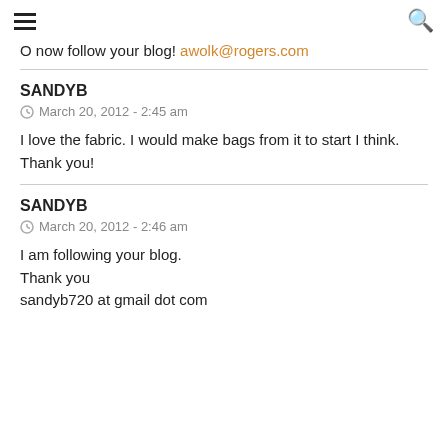≡ [menu] [search]
O now follow your blog! awolk@rogers.com
SANDYB
March 20, 2012 - 2:45 am
I love the fabric. I would make bags from it to start I think. Thank you!
SANDYB
March 20, 2012 - 2:46 am
I am following your blog.
Thank you
sandyb720 at gmail dot com